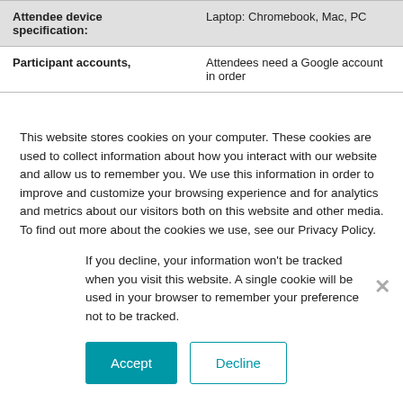| Attendee device specification: | Laptop: Chromebook, Mac, PC |
| Participant accounts, | Attendees need a Google account in order |
This website stores cookies on your computer. These cookies are used to collect information about how you interact with our website and allow us to remember you. We use this information in order to improve and customize your browsing experience and for analytics and metrics about our visitors both on this website and other media. To find out more about the cookies we use, see our Privacy Policy.
If you decline, your information won’t be tracked when you visit this website. A single cookie will be used in your browser to remember your preference not to be tracked.